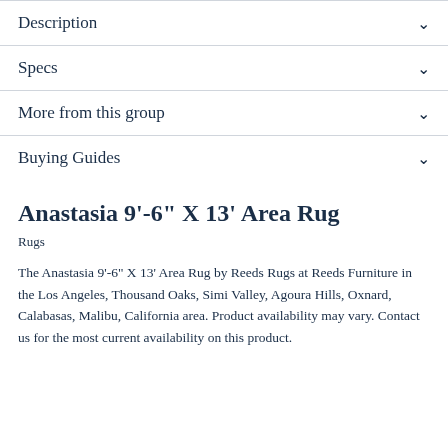Description
Specs
More from this group
Buying Guides
Anastasia 9'-6" X 13' Area Rug
Rugs
The Anastasia 9'-6" X 13' Area Rug by Reeds Rugs at Reeds Furniture in the Los Angeles, Thousand Oaks, Simi Valley, Agoura Hills, Oxnard, Calabasas, Malibu, California area. Product availability may vary. Contact us for the most current availability on this product.